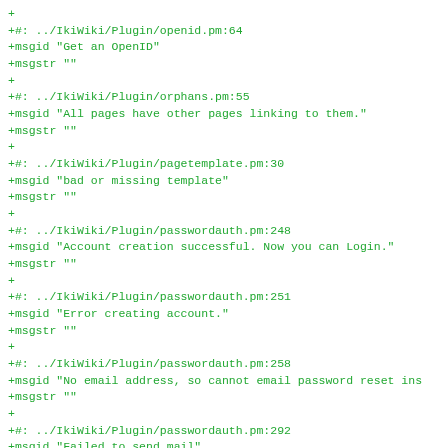+
+#: ../IkiWiki/Plugin/openid.pm:64
+msgid "Get an OpenID"
+msgstr ""
+
+#: ../IkiWiki/Plugin/orphans.pm:55
+msgid "All pages have other pages linking to them."
+msgstr ""
+
+#: ../IkiWiki/Plugin/pagetemplate.pm:30
+msgid "bad or missing template"
+msgstr ""
+
+#: ../IkiWiki/Plugin/passwordauth.pm:248
+msgid "Account creation successful. Now you can Login."
+msgstr ""
+
+#: ../IkiWiki/Plugin/passwordauth.pm:251
+msgid "Error creating account."
+msgstr ""
+
+#: ../IkiWiki/Plugin/passwordauth.pm:258
+msgid "No email address, so cannot email password reset ins
+msgstr ""
+
+#: ../IkiWiki/Plugin/passwordauth.pm:292
+msgid "Failed to send mail"
+msgstr ""
+
+#: ../IkiWiki/Plugin/passwordauth.pm:294
+msgid "You have been mailed password reset instructions."
+msgstr ""